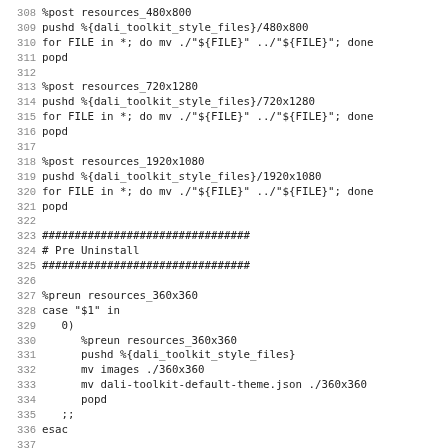308 %post resources_480x800
309 pushd %{dali_toolkit_style_files}/480x800
310 for FILE in *; do mv ./"${FILE}" ../"${FILE}"; done
311 popd
312 
313 %post resources_720x1280
314 pushd %{dali_toolkit_style_files}/720x1280
315 for FILE in *; do mv ./"${FILE}" ../"${FILE}"; done
316 popd
317 
318 %post resources_1920x1080
319 pushd %{dali_toolkit_style_files}/1920x1080
320 for FILE in *; do mv ./"${FILE}" ../"${FILE}"; done
321 popd
322 
323 ################################
324 # Pre Uninstall
325 ################################
326 
327 %preun resources_360x360
328 case "$1" in
329   0)
330     %preun resources_360x360
331     pushd %{dali_toolkit_style_files}
332     mv images ./360x360
333     mv dali-toolkit-default-theme.json ./360x360
334     popd
335   ;;
336 esac
337 
338 %preun resources_480x800
339 case "$1" in